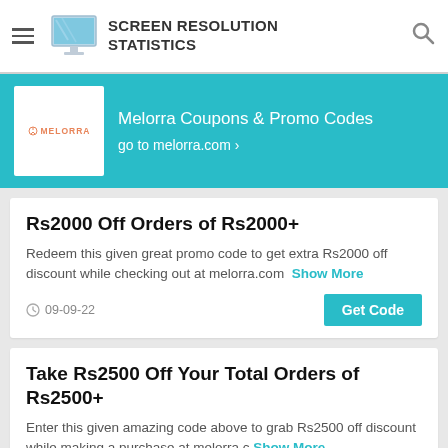SCREEN RESOLUTION STATISTICS
Melorra Coupons & Promo Codes
go to melorra.com >
Rs2000 Off Orders of Rs2000+
Redeem this given great promo code to get extra Rs2000 off discount while checking out at melorra.com Show More
09-09-22
Take Rs2500 Off Your Total Orders of Rs2500+
Enter this given amazing code above to grab Rs2500 off discount while making a purchase at melorra.c Show More